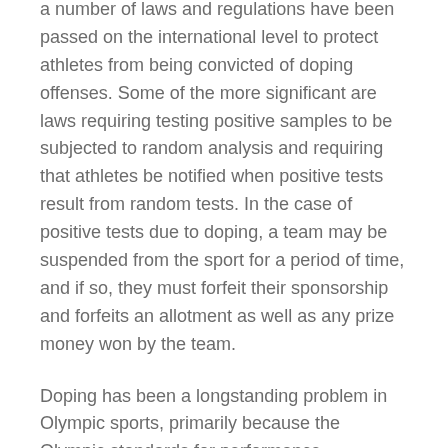a number of laws and regulations have been passed on the international level to protect athletes from being convicted of doping offenses. Some of the more significant are laws requiring testing positive samples to be subjected to random analysis and requiring that athletes be notified when positive tests result from random tests. In the case of positive tests due to doping, a team may be suspended from the sport for a period of time, and if so, they must forfeit their sponsorship and forfeits an allotment as well as any prize money won by the team.
Doping has been a longstanding problem in Olympic sports, primarily because the Olympic standards for performance-enhancing substances are very strict. In the United States, the International Olympic Committee adopted a World Anti-Doping Code (WADA) in 1988 that was intended to eliminate and deter doping. It is now the only